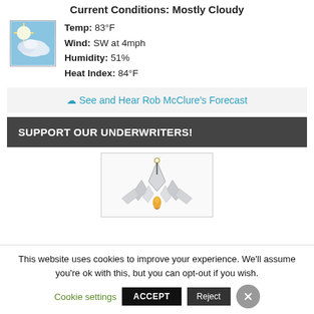Current Conditions: Mostly Cloudy
Temp: 83°F
Wind: SW at 4mph
Humidity: 51%
Heat Index: 84°F
[Figure (photo): Weather icon showing mostly cloudy sky with blue tones and bright sun partially obscured by clouds]
☁ See and Hear Rob McClure's Forecast
SUPPORT OUR UNDERWRITERS!
[Figure (logo): Advertiser logo: stylized crystal/diamond gemstone arrangement with a golden flame/pen nib at the base, line art style]
This website uses cookies to improve your experience. We'll assume you're ok with this, but you can opt-out if you wish.
Cookie settings  ACCEPT  Reject